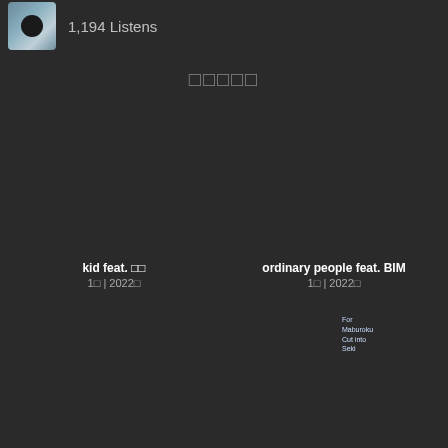1,194 Listens
□□□□□
[Figure (photo): Colorful abstract album art with swirling reds, greens, yellows and blues]
kid feat. □□
1□ | 2022□
[Figure (photo): Gray placeholder album art]
ordinary people feat. BIM
1□ | 2022□
[Figure (photo): Blue sky album art thumbnail]
[Figure (photo): Dark blue album art with text overlay]